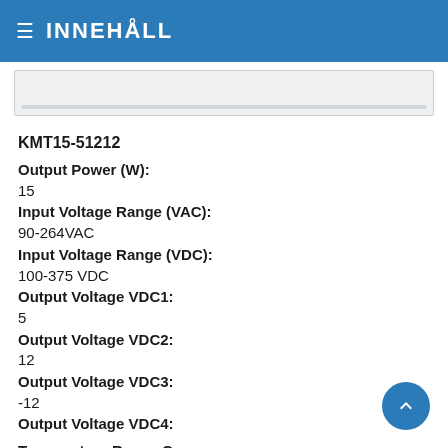INNEHÅLL
[Figure (screenshot): Partial screenshot placeholder image with light gray background and a horizontal bar near the bottom]
KMT15-51212
Output Power (W):
15
Input Voltage Range (VAC):
90-264VAC
Input Voltage Range (VDC):
100-375 VDC
Output Voltage VDC1:
5
Output Voltage VDC2:
12
Output Voltage VDC3:
-12
Output Voltage VDC4:
Temperature Range C:
-25 to 75°C
Efficiency:
78
Application: